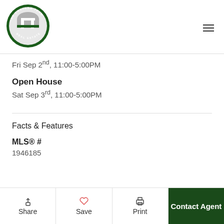[Figure (logo): The Cascade Team Real Estate circular logo — dark green ring with silver/grey dome and white CT letters inside, green text around the ring.]
Fri Sep 2nd, 11:00-5:00PM
Open House
Sat Sep 3rd, 11:00-5:00PM
Facts & Features
MLS® #
1946185
Share  Save  Print  Contact Agent